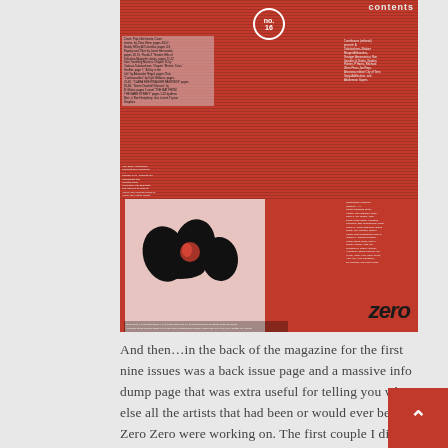[Figure (illustration): Magazine cover of Zero Zero issue no. 16 — dark red and black collage-style layout with a contents listing, dot-pattern background, abstract ink blob illustration in center, and the Zero Zero logo in the bottom right corner]
And then…in the back of the magazine for the first nine issues was a back issue page and a massive info dump page that was extra useful for telling you what else all the artists that had been or would ever be in Zero Zero were working on. The first couple I did basically picked up the format from previous issues. With number 10 we had Rolling